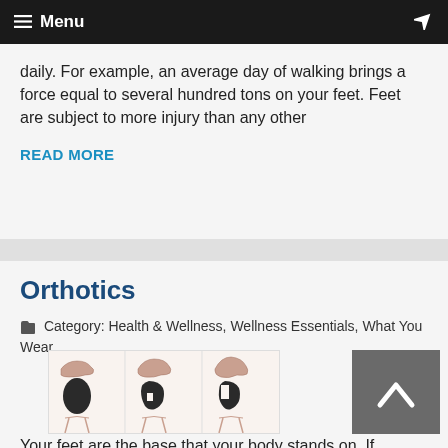☰ Menu
daily. For example, an average day of walking brings a force equal to several hundred tons on your feet. Feet are subject to more injury than any other
READ MORE
Orthotics
Category: Health & Wellness, Wellness Essentials, What You Wear
[Figure (illustration): Three foot arch type diagrams showing different foot profiles (flat, normal, high arch) with side view, bottom footprint view, and front lower leg view]
Your feet are the base that your body stands on. If